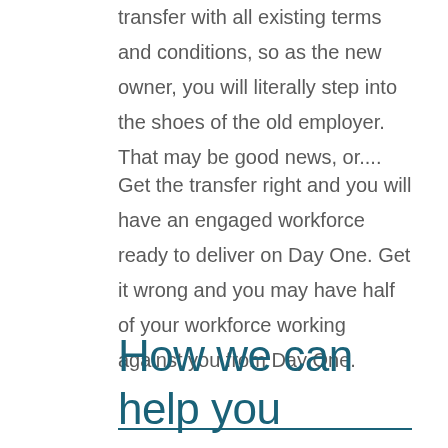transfer with all existing terms and conditions, so as the new owner, you will literally step into the shoes of the old employer. That may be good news, or....
Get the transfer right and you will have an engaged workforce ready to deliver on Day One. Get it wrong and you may have half of your workforce working against you from Day One.
How we can help you